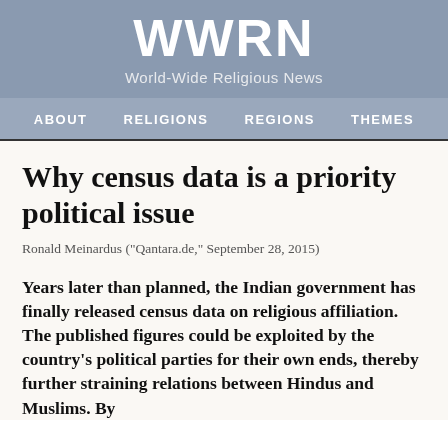WWRN
World-Wide Religious News
ABOUT   RELIGIONS   REGIONS   THEMES
Why census data is a priority political issue
Ronald Meinardus ("Qantara.de," September 28, 2015)
Years later than planned, the Indian government has finally released census data on religious affiliation. The published figures could be exploited by the country’s political parties for their own ends, thereby further straining relations between Hindus and Muslims. By